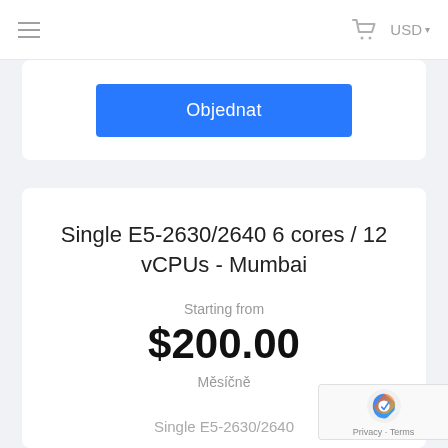≡  🛒  USD ▾
Objednat
Single E5-2630/2640 6 cores / 12 vCPUs - Mumbai
Starting from
$200.00
Měsíčně
Single E5-2630/2640
[Figure (logo): Google reCAPTCHA badge with Privacy and Terms links]